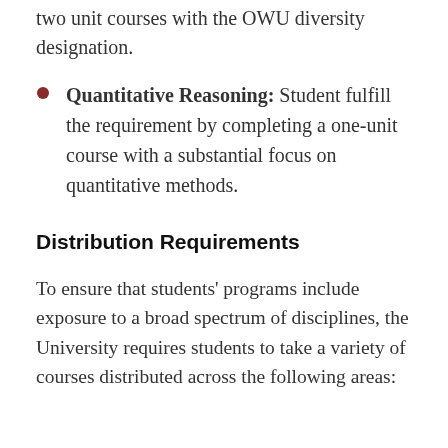two unit courses with the OWU diversity designation.
Quantitative Reasoning: Student fulfill the requirement by completing a one-unit course with a substantial focus on quantitative methods.
Distribution Requirements
To ensure that students' programs include exposure to a broad spectrum of disciplines, the University requires students to take a variety of courses distributed across the following areas: